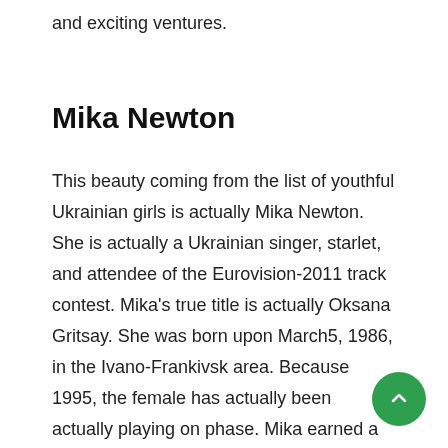and exciting ventures.
Mika Newton
This beauty coming from the list of youthful Ukrainian girls is actually Mika Newton. She is actually a Ukrainian singer, starlet, and attendee of the Eurovision-2011 track contest. Mika’s true title is actually Oksana Gritsay. She was born upon March5, 1986, in the Ivano-Frankivsk area. Because 1995, the female has actually been actually playing on phase. Mika earned a degree from songs school, coming to be a pianist as well as singer. In 2002, Mika signed her first agreement. In 2007, she examined at the Guildford Academy in England. After the